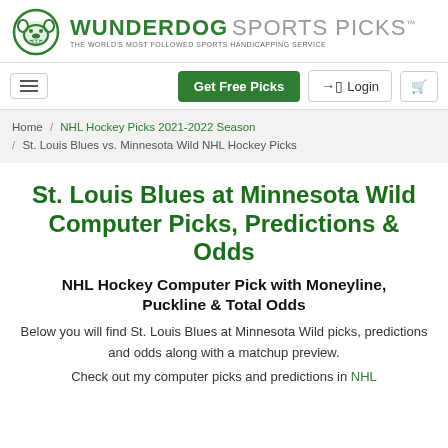[Figure (logo): Wunderdog Sports Picks logo with bulldog mascot icon and text 'WUNDERDOG SPORTS PICKS - THE WORLD'S MOST FOLLOWED SPORTS HANDICAPPING SERVICE']
Get Free Picks | Login | Cart
Home / NHL Hockey Picks 2021-2022 Season / St. Louis Blues vs. Minnesota Wild NHL Hockey Picks
St. Louis Blues at Minnesota Wild Computer Picks, Predictions & Odds
NHL Hockey Computer Pick with Moneyline, Puckline & Total Odds
Below you will find St. Louis Blues at Minnesota Wild picks, predictions and odds along with a matchup preview.
Check out my computer picks and predictions in NHL